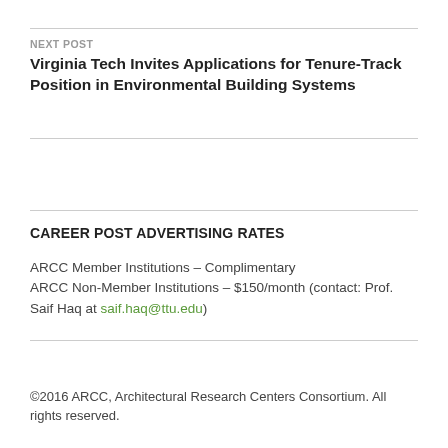NEXT POST
Virginia Tech Invites Applications for Tenure-Track Position in Environmental Building Systems
CAREER POST ADVERTISING RATES
ARCC Member Institutions – Complimentary
ARCC Non-Member Institutions – $150/month (contact: Prof. Saif Haq at saif.haq@ttu.edu)
©2016 ARCC, Architectural Research Centers Consortium. All rights reserved.